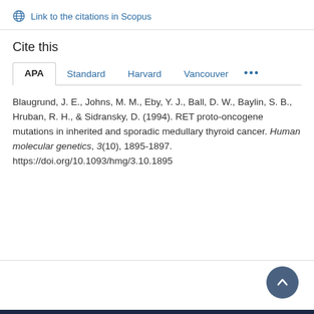Link to the citations in Scopus
Cite this
APA  Standard  Harvard  Vancouver  ...
Blaugrund, J. E., Johns, M. M., Eby, Y. J., Ball, D. W., Baylin, S. B., Hruban, R. H., & Sidransky, D. (1994). RET proto-oncogene mutations in inherited and sporadic medullary thyroid cancer. Human molecular genetics, 3(10), 1895-1897. https://doi.org/10.1093/hmg/3.10.1895